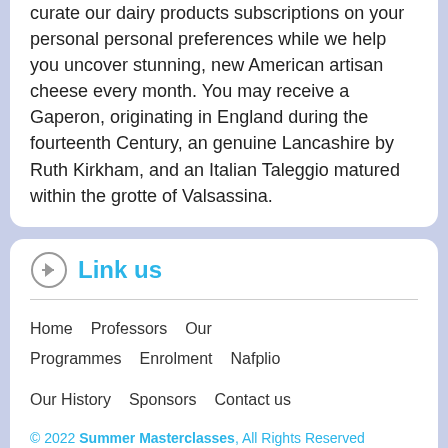curate our dairy products subscriptions on your personal personal preferences while we help you uncover stunning, new American artisan cheese every month. You may receive a Gaperon, originating in England during the fourteenth Century, an genuine Lancashire by Ruth Kirkham, and an Italian Taleggio matured within the grotte of Valsassina.
Link us
Home   Professors   Our Programmes   Enrolment   Nafplio   Our History   Sponsors   Contact us
© 2022 Summer Masterclasses, All Rights Reserved
Designed by Logicsofts
Contact us
Email : info@musical-odyssey.com